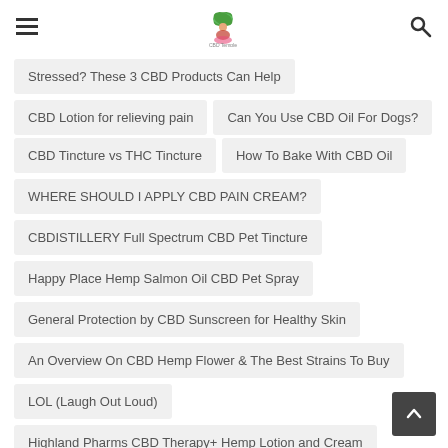CBD Temple — navigation header with logo
Stressed? These 3 CBD Products Can Help
CBD Lotion for relieving pain
Can You Use CBD Oil For Dogs?
CBD Tincture vs THC Tincture
How To Bake With CBD Oil
WHERE SHOULD I APPLY CBD PAIN CREAM?
CBDISTILLERY Full Spectrum CBD Pet Tincture
Happy Place Hemp Salmon Oil CBD Pet Spray
General Protection by CBD Sunscreen for Healthy Skin
An Overview On CBD Hemp Flower & The Best Strains To Buy
LOL (Laugh Out Loud)
Highland Pharms CBD Therapy+ Hemp Lotion and Cream